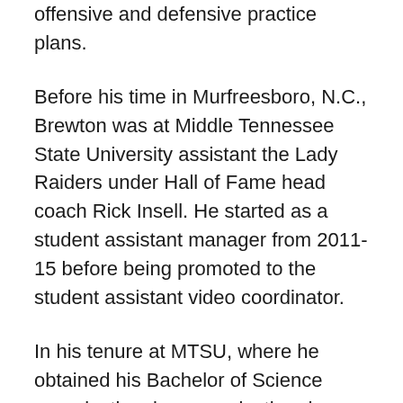offensive and defensive practice plans.
Before his time in Murfreesboro, N.C., Brewton was at Middle Tennessee State University assistant the Lady Raiders under Hall of Fame head coach Rick Insell. He started as a student assistant manager from 2011-15 before being promoted to the student assistant video coordinator.
In his tenure at MTSU, where he obtained his Bachelor of Science organizational communication degree with a minor in athletic coaching in 2016, Brewton assisted Insell and developed responsibilities from handling equipment and apparel, scouting opponent game film to road trip agenda...